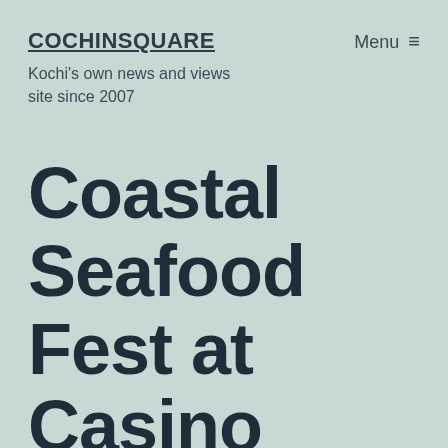COCHINSQUARE
Kochi's own news and views site since 2007
Menu ≡
Coastal Seafood Fest at Casino Hotel